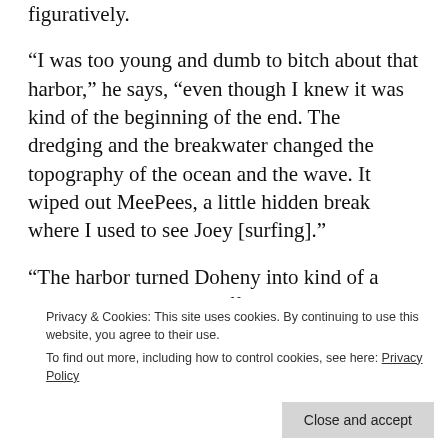figuratively.
“I was too young and dumb to bitch about that harbor,” he says, “even though I knew it was kind of the beginning of the end. The dredging and the breakwater changed the topography of the ocean and the wave. It wiped out MeePees, a little hidden break where I used to see Joey [surfing].”
“The harbor turned Doheny into kind of a slow-rolling mush,” Hoffman echoes, on both the changing landscape and, as a result, the culture
Privacy & Cookies: This site uses cookies. By continuing to use this website, you agree to their use. To find out more, including how to control cookies, see here: Privacy Policy
Close and accept